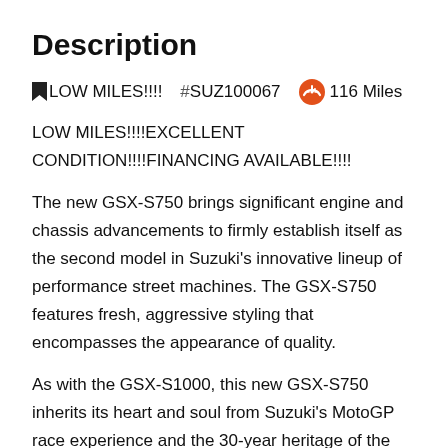Description
🔖LOW MILES!!!!   # SUZ100067   🏎 116 Miles
LOW MILES!!!!EXCELLENT CONDITION!!!!FINANCING AVAILABLE!!!!
The new GSX-S750 brings significant engine and chassis advancements to firmly establish itself as the second model in Suzuki's innovative lineup of performance street machines. The GSX-S750 features fresh, aggressive styling that encompasses the appearance of quality.
As with the GSX-S1000, this new GSX-S750 inherits its heart and soul from Suzuki's MotoGP race experience and the 30-year heritage of the GSX-R750. With boosted